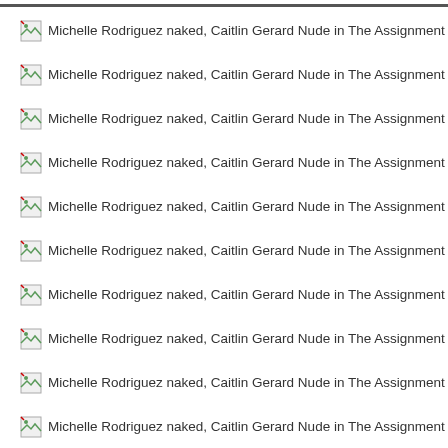Michelle Rodriguez naked, Caitlin Gerard Nude in The Assignment (2016)
Michelle Rodriguez naked, Caitlin Gerard Nude in The Assignment (2016)
Michelle Rodriguez naked, Caitlin Gerard Nude in The Assignment (2016)
Michelle Rodriguez naked, Caitlin Gerard Nude in The Assignment (2016)
Michelle Rodriguez naked, Caitlin Gerard Nude in The Assignment (2016)
Michelle Rodriguez naked, Caitlin Gerard Nude in The Assignment (2016)
Michelle Rodriguez naked, Caitlin Gerard Nude in The Assignment (2016)
Michelle Rodriguez naked, Caitlin Gerard Nude in The Assignment (2016)
Michelle Rodriguez naked, Caitlin Gerard Nude in The Assignment (2016)
Michelle Rodriguez naked, Caitlin Gerard Nude in The Assignment (2016)
Michelle Rodriguez naked, Caitlin Gerard Nude in The Assignment (2016)